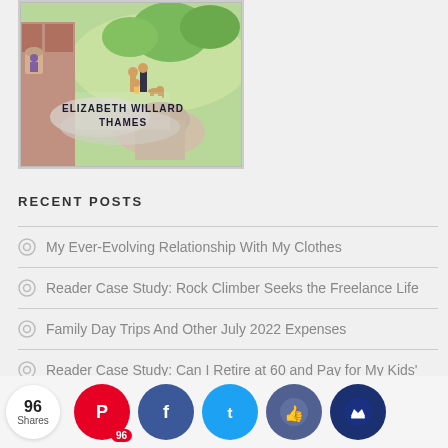[Figure (illustration): Book cover illustration showing Elizabeth Willard Thames, with a family scene in a park-like setting and architectural elements, with the author name 'ELIZABETH WILLARD THAMES' visible on the cover.]
RECENT POSTS
My Ever-Evolving Relationship With My Clothes
Reader Case Study: Rock Climber Seeks the Freelance Life
Family Day Trips And Other July 2022 Expenses
Reader Case Study: Can I Retire at 60 and Pay for My Kids' [College?]
96 Shares  96 [Pinterest]  [Facebook]  [Twitter]  [Like]  [Crown/Save]